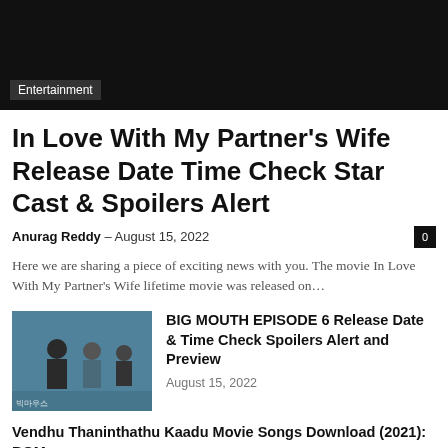[Figure (photo): Dark/black hero image with Entertainment label overlay]
In Love With My Partner's Wife Release Date Time Check Star Cast & Spoilers Alert
Anurag Reddy – August 15, 2022
Here we are sharing a piece of exciting news with you. The movie In Love With My Partner's Wife lifetime movie was released on…
[Figure (photo): BIG MOUTH episode still showing two people in police/CSI outfits]
BIG MOUTH EPISODE 6 Release Date & Time Check Spoilers Alert and Preview
August 15, 2022
Vendhu Thaninthathu Kaadu Movie Songs Download (2021): BGM
August 15, 2022